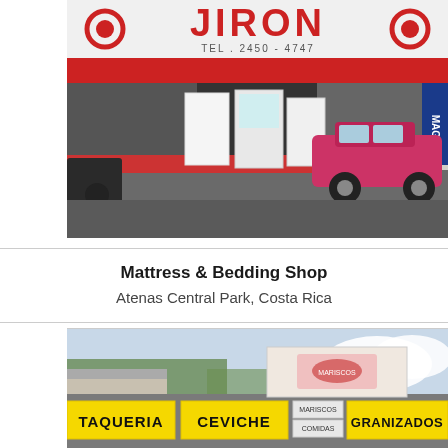[Figure (photo): Street-level photo of a shop called JIRON with red signage, showing appliances (refrigerators) displayed outside, a pink/red car passing by, and a red-painted storefront. The sign reads JIRON with a phone number.]
Mattress & Bedding Shop
Atenas Central Park, Costa Rica
[Figure (photo): Street scene with colorful yellow-background signs reading TAQUERIA, CEVICHE, and GRANIZADOS in bold black text, with additional signage and trees/sky visible in the background.]